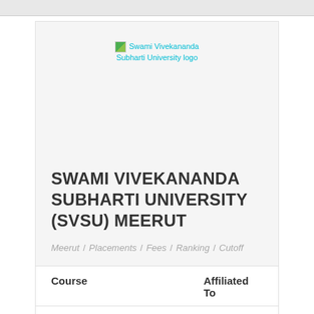[Figure (logo): Swami Vivekananda Subharti University logo placeholder image with cyan text]
SWAMI VIVEKANANDA SUBHARTI UNIVERSITY (SVSU) MEERUT
Meerut / Placements / Fees / Ranking / Cutoff
| Course | Affiliated To |
| --- | --- |
| Commerce |  |